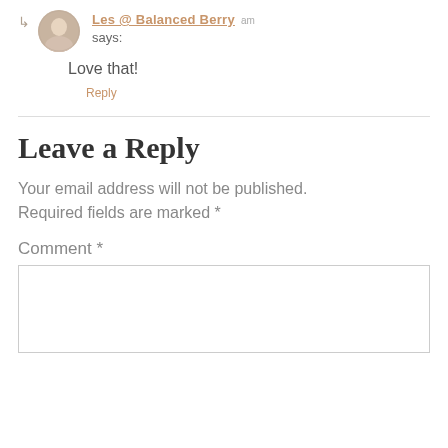Les @ Balanced Berry am says:
Love that!
Reply
Leave a Reply
Your email address will not be published. Required fields are marked *
Comment *